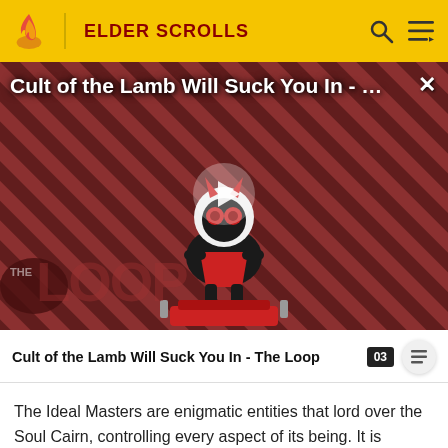ELDER SCROLLS
[Figure (screenshot): Video thumbnail showing a cute lamb character with devil horns and red eyes on a red and black diagonal striped background, with 'THE LOOP' watermark text and a play button overlay. Title overlay reads 'Cult of the Lamb Will Suck You In - ...']
Cult of the Lamb Will Suck You In - The Loop
The Ideal Masters are enigmatic entities that lord over the Soul Cairn, controlling every aspect of its being. It is